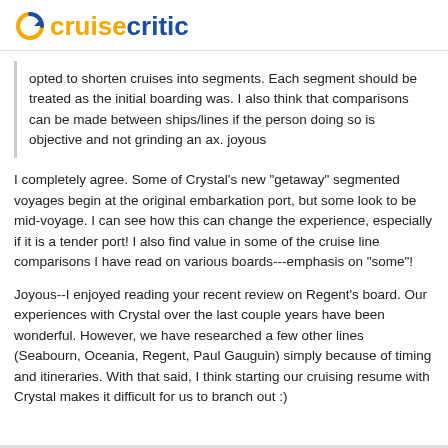cruisecritic
opted to shorten cruises into segments. Each segment should be treated as the initial boarding was. I also think that comparisons can be made between ships/lines if the person doing so is objective and not grinding an ax. joyous
I completely agree. Some of Crystal's new "getaway" segmented voyages begin at the original embarkation port, but some look to be mid-voyage. I can see how this can change the experience, especially if it is a tender port! I also find value in some of the cruise line comparisons I have read on various boards---emphasis on "some"!
Joyous--I enjoyed reading your recent review on Regent's board. Our experiences with Crystal over the last couple years have been wonderful. However, we have researched a few other lines (Seabourn, Oceania, Regent, Paul Gauguin) simply because of timing and itineraries. With that said, I think starting our cruising resume with Crystal makes it difficult for us to branch out :)